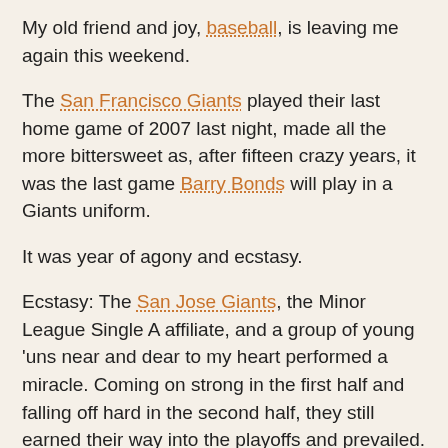My old friend and joy, baseball, is leaving me again this weekend.
The San Francisco Giants played their last home game of 2007 last night, made all the more bittersweet as, after fifteen crazy years, it was the last game Barry Bonds will play in a Giants uniform.
It was year of agony and ecstasy.
Ecstasy: The San Jose Giants, the Minor League Single A affiliate, and a group of young 'uns near and dear to my heart performed a miracle. Coming on strong in the first half and falling off hard in the second half, they still earned their way into the playoffs and prevailed. They are the 2007 California League Champions. They played an amazing post season and just brutalized Lake Elsinore in game 5, the deciding game. I get goose bumps just thinking about it. They are a young and talented group of...